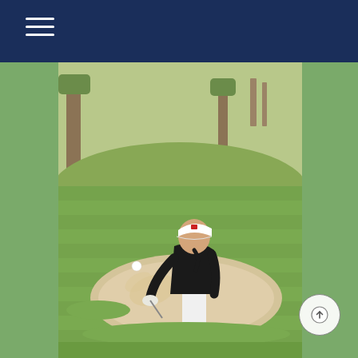Navigation bar with hamburger menu
[Figure (photo): A female golfer in a black top, white cap, and white pants hitting a bunker shot on a golf course. Sand is spraying and the ball is visible in the air. The setting is a green fairway with trees in the background.]